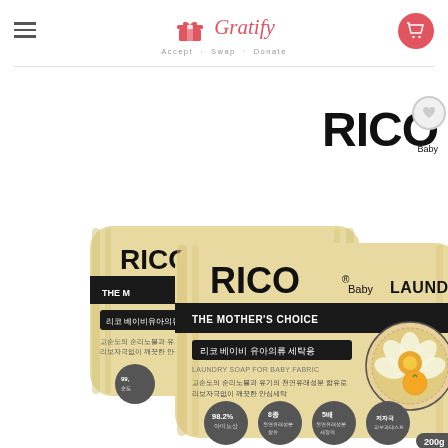[Figure (logo): Gratify app logo with gift box icon and text 'Gratify' in red italic script, tagline 'Accept · Swap · Donate']
[Figure (logo): RICO Baby brand logo in bold black text with heart circle icon]
[Figure (photo): Two packages of RICO Baby Laundry Baby Soap (200g each) in cream/yellow packaging with Korean text and floral badge]